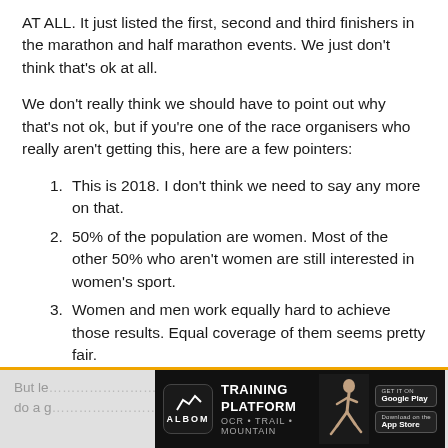AT ALL. It just listed the first, second and third finishers in the marathon and half marathon events. We just don't think that's ok at all.
We don't really think we should have to point out why that's not ok, but if you're one of the race organisers who really aren't getting this, here are a few pointers:
This is 2018. I don't think we need to say any more on that.
50% of the population are women. Most of the other 50% who aren't women are still interested in women's sport.
Women and men work equally hard to achieve those results. Equal coverage of them seems pretty fair.
[Figure (infographic): Albom Training Platform advertisement banner with Google Play and App Store download buttons, featuring a running athlete silhouette]